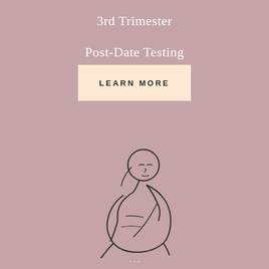3rd Trimester
Post-Date Testing
LEARN MORE
[Figure (illustration): Line drawing illustration of a pregnant woman in a curled/resting position, drawn in minimalist style with thin black lines on a dusty rose background]
...